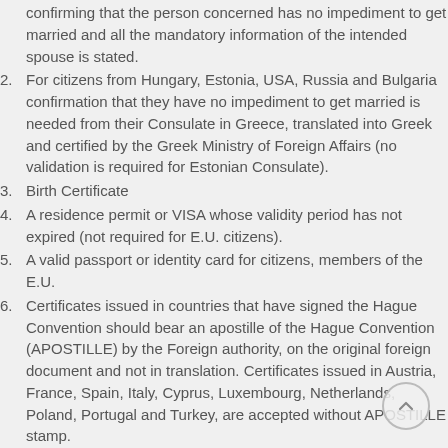confirming that the person concerned has no impediment to get married and all the mandatory information of the intended spouse is stated.
For citizens from Hungary, Estonia, USA, Russia and Bulgaria confirmation that they have no impediment to get married is needed from their Consulate in Greece, translated into Greek and certified by the Greek Ministry of Foreign Affairs (no validation is required for Estonian Consulate).
Birth Certificate
A residence permit or VISA whose validity period has not expired (not required for E.U. citizens).
A valid passport or identity card for citizens, members of the E.U.
Certificates issued in countries that have signed the Hague Convention should bear an apostille of the Hague Convention (APOSTILLE) by the Foreign authority, on the original foreign document and not in translation. Certificates issued in Austria, France, Spain, Italy, Cyprus, Luxembourg, Netherlands, Poland, Portugal and Turkey, are accepted without APOSTILLE stamp.
Certificates issued in countries which have signed the